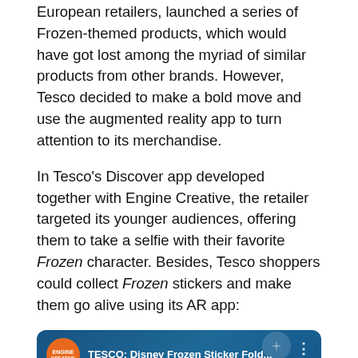European retailers, launched a series of Frozen-themed products, which would have got lost among the myriad of similar products from other brands. However, Tesco decided to make a bold move and use the augmented reality app to turn attention to its merchandise.
In Tesco's Discover app developed together with Engine Creative, the retailer targeted its younger audiences, offering them to take a selfie with their favorite Frozen character. Besides, Tesco shoppers could collect Frozen stickers and make them go alive using its AR app:
[Figure (screenshot): YouTube video thumbnail showing 'TESCO: Disney Frozen Sticker Fold...' with Engine Creative channel icon (orange circle), play button, 'From the movie' text and 'FROZEN' text in icy blue letters on a blue snowy background.]